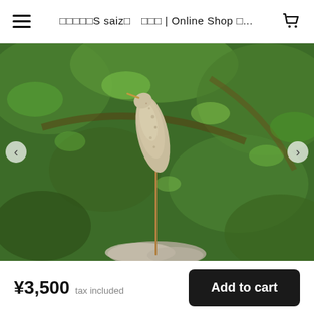□□□□□S saiz□　□□□ | Online Shop □...
[Figure (photo): A ceramic or stone bird sculpture on a thin metal stake, photographed against a lush green leafy background. The bird is abstract, elongated, with a textured surface and a pointed beak, perched on a thin rod above a rocky surface.]
¥3,500  tax included
Add to cart